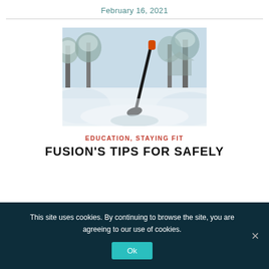February 16, 2021
[Figure (photo): A snow shovel with an orange handle standing upright in deep snow on a cleared driveway, surrounded by snow-covered trees in a winter scene.]
EDUCATION, STAYING FIT
FUSION'S TIPS FOR SAFELY
This site uses cookies. By continuing to browse the site, you are agreeing to our use of cookies.